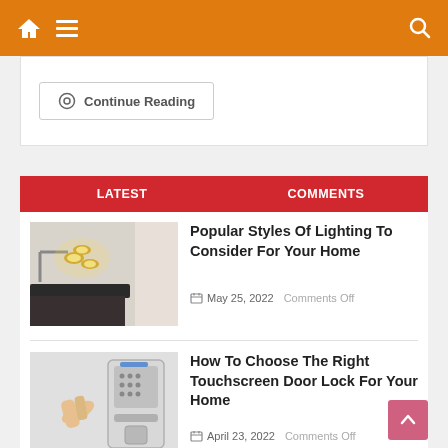Navigation bar with home, menu, and search icons
⊙ Continue Reading
LATEST   COMMENTS
[Figure (photo): Wall-mounted light fixture with warm globe bulbs in a hallway]
Popular Styles Of Lighting To Consider For Your Home
May 25, 2022   Comments Off
[Figure (photo): Person pressing finger on touchscreen keypad of a smart door lock]
How To Choose The Right Touchscreen Door Lock For Your Home
April 23, 2022   Comments Off